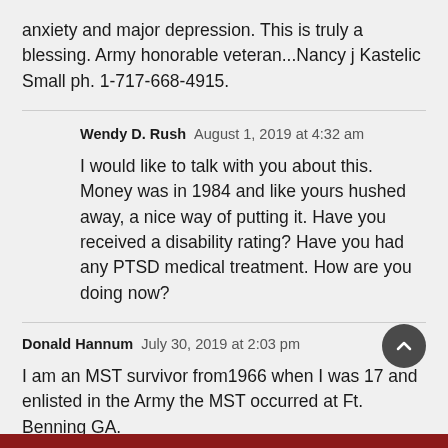anxiety and major depression. This is truly a blessing. Army honorable veteran...Nancy j Kastelic Small ph. 1-717-668-4915.
Wendy D. Rush  August 1, 2019 at 4:32 am
I would like to talk with you about this. Money was in 1984 and like yours hushed away, a nice way of putting it. Have you received a disability rating? Have you had any PTSD medical treatment. How are you doing now?
Donald Hannum  July 30, 2019 at 2:03 pm
I am an MST survivor from1966 when I was 17 and enlisted in the Army the MST occurred at Ft. Benning GA.